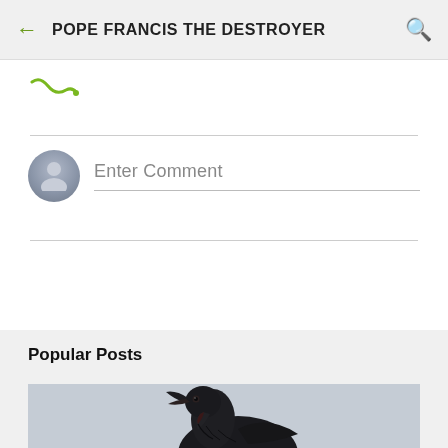POPE FRANCIS THE DESTROYER
[Figure (illustration): Green squiggle/wave icon in the upper left of the content area]
Enter Comment
Popular Posts
[Figure (photo): A black crow or raven photographed from below against a gray background, beak open, looking upward]